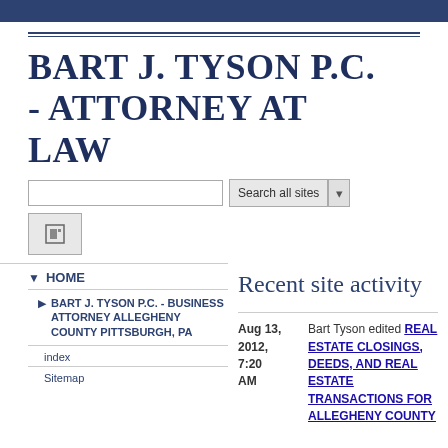BART J. TYSON P.C. - ATTORNEY AT LAW
Recent site activity
HOME
BART J. TYSON P.C. - BUSINESS ATTORNEY ALLEGHENY COUNTY PITTSBURGH, PA
index
Sitemap
Aug 13, 2012, 7:20 AM  Bart Tyson edited REAL ESTATE CLOSINGS, DEEDS, AND REAL ESTATE TRANSACTIONS FOR ALLEGHENY COUNTY